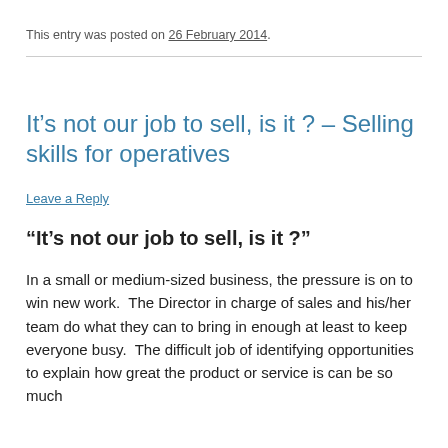This entry was posted on 26 February 2014.
It's not our job to sell, is it ? – Selling skills for operatives
Leave a Reply
“It’s not our job to sell, is it ?”
In a small or medium-sized business, the pressure is on to win new work.  The Director in charge of sales and his/her team do what they can to bring in enough at least to keep everyone busy.  The difficult job of identifying opportunities to explain how great the product or service is can be so much